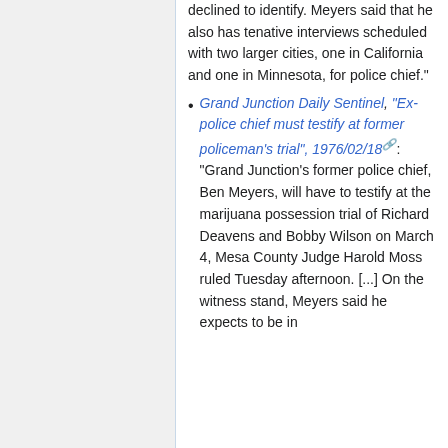declined to identify. Meyers said that he also has tenative interviews scheduled with two larger cities, one in California and one in Minnesota, for police chief."
Grand Junction Daily Sentinel, "Ex-police chief must testify at former policeman's trial", 1976/02/18: "Grand Junction's former police chief, Ben Meyers, will have to testify at the marijuana possession trial of Richard Deavens and Bobby Wilson on March 4, Mesa County Judge Harold Moss ruled Tuesday afternoon. [...] On the witness stand, Meyers said he expects to be in